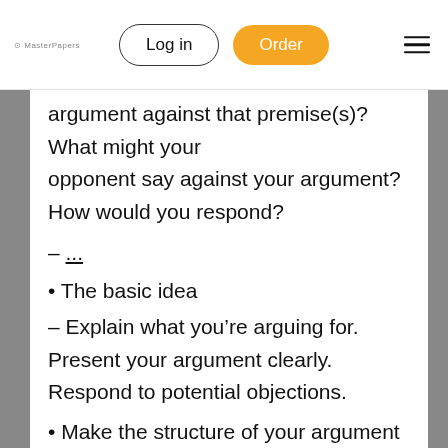Log in | Order
argument against that premise(s)? What might your opponent say against your argument? How would you respond?
– ...
• The basic idea
– Explain what you're arguing for. Present your argument clearly. Respond to potential objections.
• Make the structure of your argument obvious